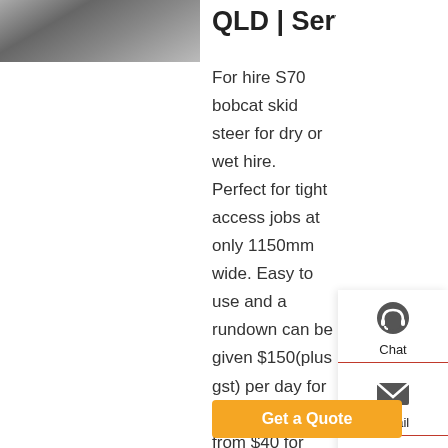[Figure (photo): Photo of a bobcat skid steer machine on a road/surface, shown from front/side angle]
QLD | Services For
For hire S70 bobcat skid steer for dry or wet hire. Perfect for tight access jobs at only 1150mm wide. Easy to use and a rundown can be given $150(plus gst) per day for dry hire plus from $40 for drop off and pick up or pick it up for free(i do only have a car trailer to tow it on though) Can come on a 5×10 hydraulic tipper trailer with a payload of 2.3t for $60 gst Comes with 4 in 1
[Figure (infographic): Floating sidebar with Chat (headset icon), Email (envelope icon), Contact (speech bubble icon), Top (arrow up icon) buttons]